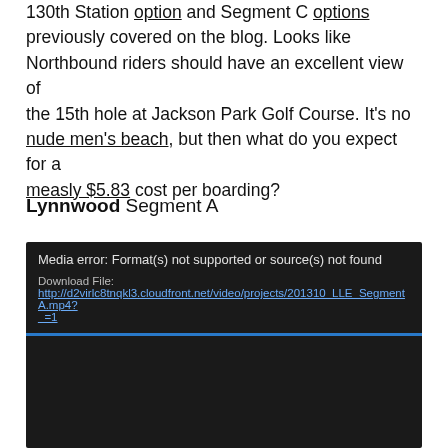130th Station option and Segment C options previously covered on the blog. Looks like Northbound riders should have an excellent view of the 15th hole at Jackson Park Golf Course. It's no nude men's beach, but then what do you expect for a measly $5.83 cost per boarding?
Lynnwood Segment A
[Figure (screenshot): Video player showing media error: Format(s) not supported or source(s) not found. Download File: http://d2virlc8tnqkl3.cloudfront.net/video/projects/201310_LLE_SegmentA.mp4?_=1]